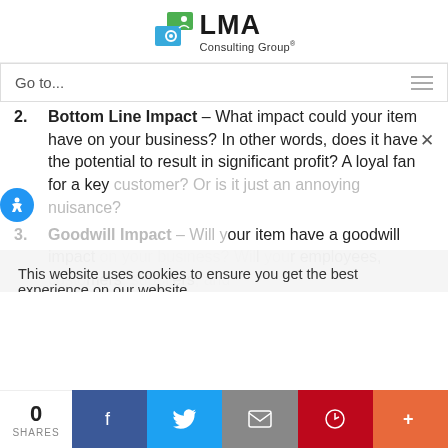[Figure (logo): LMA Consulting Group logo with green/blue icon and company name]
Go to...
2. Bottom Line Impact – What impact could your item have on your business? In other words, does it have the potential to result in significant profit? A loyal fan for a key customer? Or is it just an annoying nuisance?
3. Goodwill Impact – Will your item have a goodwill impact on your business? Will your employees, customers, suppliers, and
This website uses cookies to ensure you get the best experience on our website.
Dismiss  Accept
0 SHARES  [Facebook] [Twitter] [Email] [Pinterest] [More]